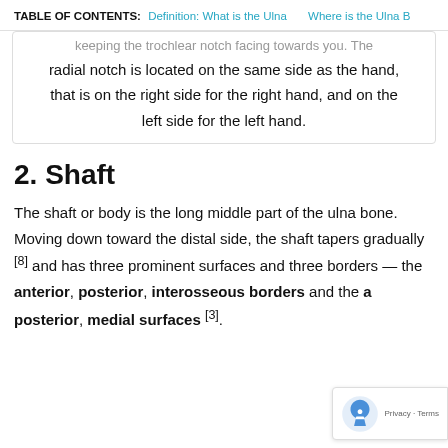TABLE OF CONTENTS: Definition: What is the Ulna   Where is the Ulna B
keeping the trochlear notch facing towards you. The radial notch is located on the same side as the hand, that is on the right side for the right hand, and on the left side for the left hand.
2. Shaft
The shaft or body is the long middle part of the ulna bone. Moving down toward the distal side, the shaft tapers gradually [8] and has three prominent surfaces and three borders — the anterior, posterior, interosseous borders and the anterior, posterior, medial surfaces [3].